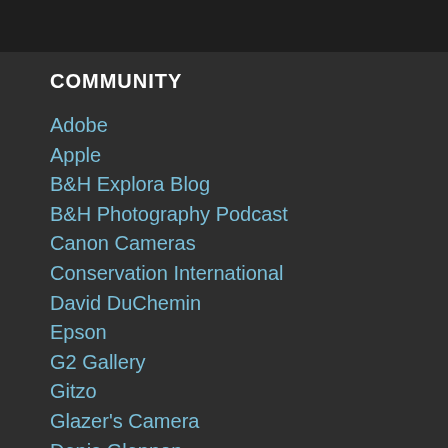COMMUNITY
Adobe
Apple
B&H Explora Blog
B&H Photography Podcast
Canon Cameras
Conservation International
David DuChemin
Epson
G2 Gallery
Gitzo
Glazer's Camera
Denis Glennon
Jim Goldstein
iLCP
Gavriel Jecan